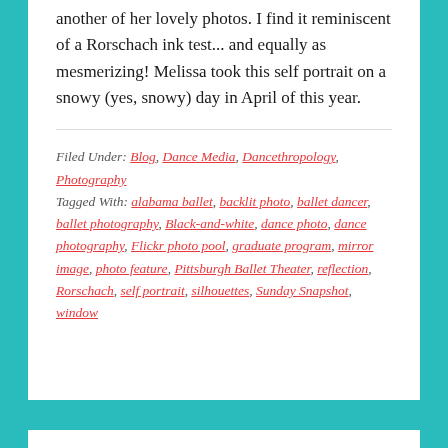another of her lovely photos. I find it reminiscent of a Rorschach ink test... and equally as mesmerizing! Melissa took this self portrait on a snowy (yes, snowy) day in April of this year.
Filed Under: Blog, Dance Media, Dancethropology, Photography
Tagged With: alabama ballet, backlit photo, ballet dancer, ballet photography, Black-and-white, dance photo, dance photography, Flickr photo pool, graduate program, mirror image, photo feature, Pittsburgh Ballet Theater, reflection, Rorschach, self portrait, silhouettes, Sunday Snapshot, window